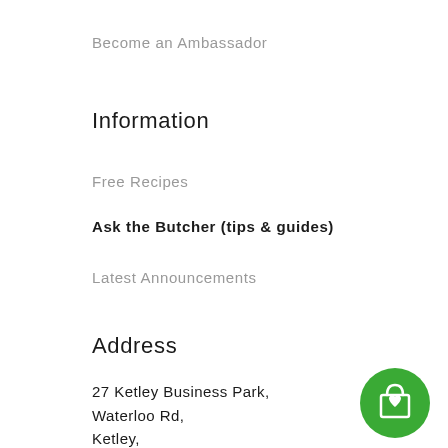Become an Ambassador
Information
Free Recipes
Ask the Butcher (tips & guides)
Latest Announcements
Address
27 Ketley Business Park,
Waterloo Rd,
Ketley,
[Figure (illustration): Green circular button with a shopping bag and heart icon]